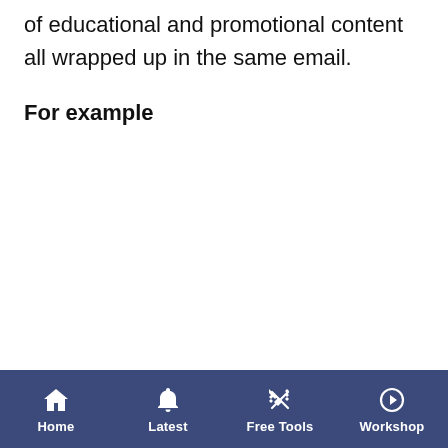of educational and promotional content all wrapped up in the same email.
For example
Home | Latest | Free Tools | Workshop